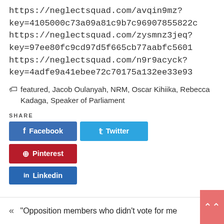https://neglectsquad.com/avqin9mz?key=4105000c73a09a81c9b7c96907855822c
https://neglectsquad.com/zysmnz3jeq?key=97ee80fc9cd97d5f665cb77aabfc5601
https://neglectsquad.com/n9r9acyck?key=4adfe9a41ebee72c70175a132ee33e93
featured, Jacob Oulanyah, NRM, Oscar Kihiika, Rebecca Kadaga, Speaker of Parliament
SHARE
Facebook
Twitter
Pinterest
Linkedin
"Opposition members who didn't vote for me